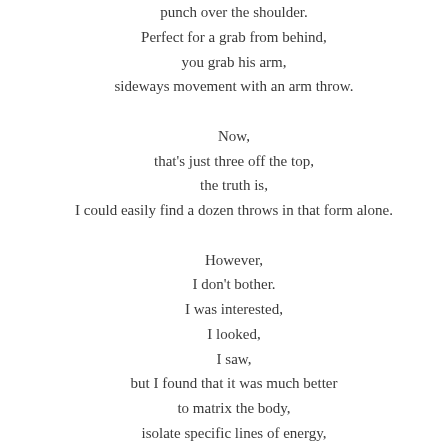punch over the shoulder.
Perfect for a grab from behind,
you grab his arm,
sideways movement with an arm throw.

Now,
that's just three off the top,
the truth is,
I could easily find a dozen throws in that form alone.

However,
I don't bother.
I was interested,
I looked,
I saw,
but I found that it was much better
to matrix the body,
isolate specific lines of energy,
and then formulate the throws and moments the